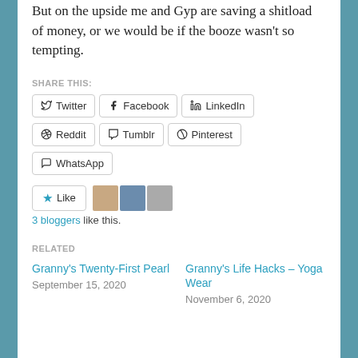But on the upside me and Gyp are saving a shitload of money, or we would be if the booze wasn't so tempting.
SHARE THIS:
Twitter  Facebook  LinkedIn  Reddit  Tumblr  Pinterest  WhatsApp
Like — 3 bloggers like this.
RELATED
Granny's Twenty-First Pearl
September 15, 2020
Granny's Life Hacks – Yoga Wear
November 6, 2020